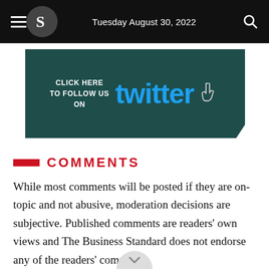Tuesday August 30, 2022
[Figure (other): Twitter follow banner: dark teal background with text 'CLICK HERE TO FOLLOW US ON' on the left and the Twitter logo in blue on the right, with a hand cursor icon.]
COMMENTS
While most comments will be posted if they are on-topic and not abusive, moderation decisions are subjective. Published comments are readers' own views and The Business Standard does not endorse any of the readers' comments.